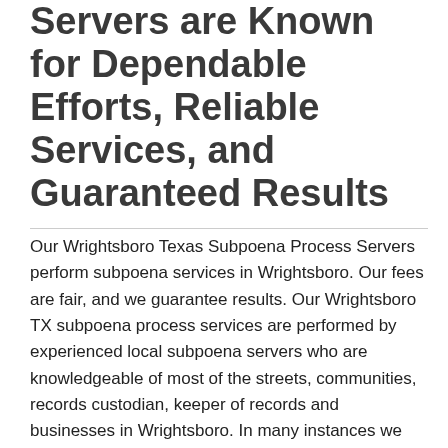Servers are Known for Dependable Efforts, Reliable Services, and Guaranteed Results
Our Wrightsboro Texas Subpoena Process Servers perform subpoena services in Wrightsboro. Our fees are fair, and we guarantee results. Our Wrightsboro TX subpoena process services are performed by experienced local subpoena servers who are knowledgeable of most of the streets, communities, records custodian, keeper of records and businesses in Wrightsboro. In many instances we will already have knowledge of the person or business you are seeking to serve your subpoena to. A.C.E Subpoena Process Servers in Wrightsboro TX provide prompt